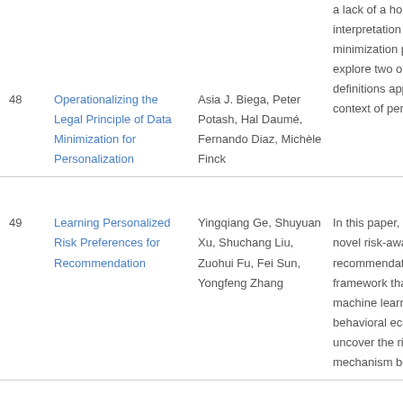| # | Title | Authors | Abstract |
| --- | --- | --- | --- |
| 48 | Operationalizing the Legal Principle of Data Minimization for Personalization | Asia J. Biega, Peter Potash, Hal Daumé, Fernando Diaz, Michèle Finck | …a lack of a homogeneous interpretation of the data minimization principle and explore two operational definitions applicable in the context of personalization. |
| 49 | Learning Personalized Risk Preferences for Recommendation | Yingqiang Ge, Shuyuan Xu, Shuchang Liu, Zuohui Fu, Fei Sun, Yongfeng Zhang | In this paper, we propose a novel risk-aware recommendation framework that integrates machine learning and behavioral economics to uncover the risk mechanism behind users'… |